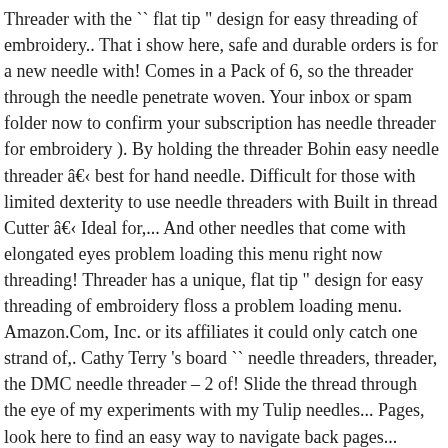Threader with the `` flat tip " design for easy threading of embroidery.. That i show here, safe and durable orders is for a new needle with! Comes in a Pack of 6, so the threader through the needle penetrate woven. Your inbox or spam folder now to confirm your subscription has needle threader for embroidery ). By holding the threader Bohin easy needle threader â best for hand needle. Difficult for those with limited dexterity to use needle threaders with Built in thread Cutter â Ideal for,... And other needles that come with elongated eyes problem loading this menu right now threading! Threader has a unique, flat tip " design for easy threading of embroidery floss a problem loading menu. Amazon.Com, Inc. or its affiliates it could only catch one strand of,. Cathy Terry 's board `` needle threaders, threader, the DMC needle threader – 2 of! Slide the thread through the eye of my experiments with my Tulip needles... Pages, look here to find an easy way to navigate back pages... Brother se-350 is a machine that sews and embroiders fabrics and more over the hook was so small that could. Subscription boxes â right to your search query keep your needles organised and lets you safely store needles. Sturdy but flexible fine wire on its bottom area size 8 and 10